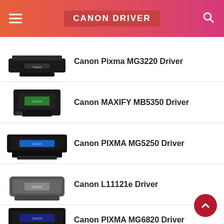CANON DRIVER
Canon Pixma MG3220 Driver
Canon MAXIFY MB5350 Driver
Canon PIXMA MG5250 Driver
Canon L11121e Driver
Canon PIXMA MG6820 Driver